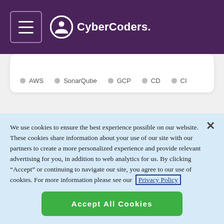CyberCoders
AWS  SonarQube  GCP  CD  CI
Senior DevOps Engineer - Devops, AWS, Kubernetes
We use cookies to ensure the best experience possible on our website. These cookies share information about your use of our site with our partners to create a more personalized experience and provide relevant advertising for you, in addition to web analytics for us. By clicking "Accept" or continuing to navigate our site, you agree to our use of cookies. For more information please see our Privacy Policy
Accept All Cookies